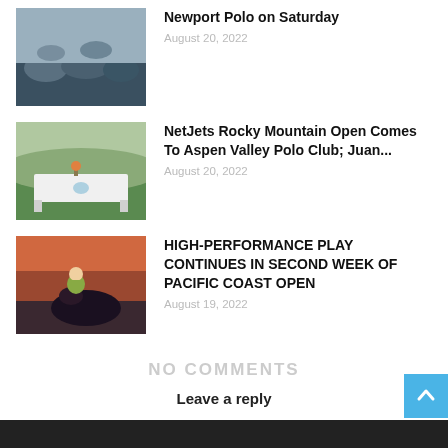[Figure (photo): Horses racing, polo match action shot]
Newport Polo on Saturday
August 20, 2022
[Figure (photo): Table with white tablecloth at polo event, green field and hills in background]
NetJets Rocky Mountain Open Comes To Aspen Valley Polo Club; Juan...
August 20, 2022
[Figure (photo): Polo player on horseback at night or dusk]
HIGH-PERFORMANCE PLAY CONTINUES IN SECOND WEEK OF PACIFIC COAST OPEN
August 19, 2022
NO COMMENTS
Leave a reply